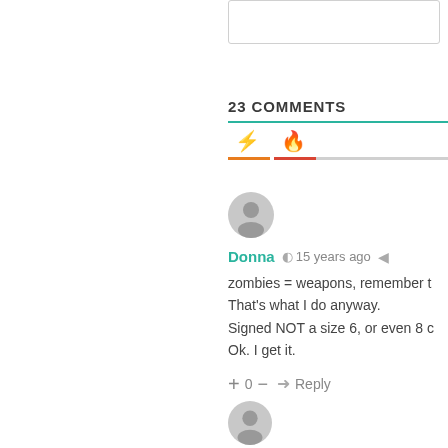23 COMMENTS
[Figure (illustration): User avatar - gray circle with person silhouette icon]
Donna  15 years ago
zombies = weapons, remember t
That's what I do anyway.
Signed NOT a size 6, or even 8 c
Ok. I get it.
+ 0 — ➜ Reply
[Figure (illustration): Second user avatar - gray circle with person silhouette icon]